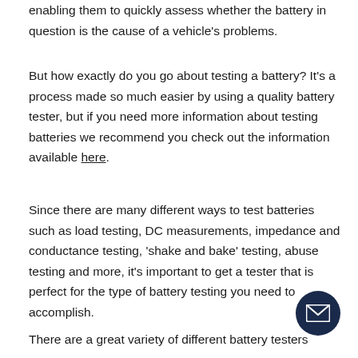enabling them to quickly assess whether the battery in question is the cause of a vehicle’s problems.
But how exactly do you go about testing a battery? It’s a process made so much easier by using a quality battery tester, but if you need more information about testing batteries we recommend you check out the information available here.
Since there are many different ways to test batteries such as load testing, DC measurements, impedance and conductance testing, ‘shake and bake’ testing, abuse testing and more, it’s important to get a tester that is perfect for the type of battery testing you need to accomplish.
There are a great variety of different battery testers